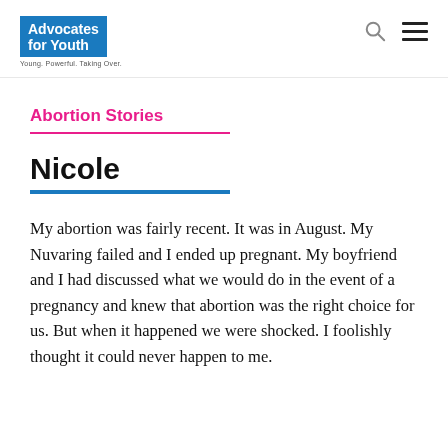Advocates for Youth — Young. Powerful. Taking Over.
Abortion Stories
Nicole
My abortion was fairly recent. It was in August. My Nuvaring failed and I ended up pregnant. My boyfriend and I had discussed what we would do in the event of a pregnancy and knew that abortion was the right choice for us. But when it happened we were shocked. I foolishly thought it could never happen to me.